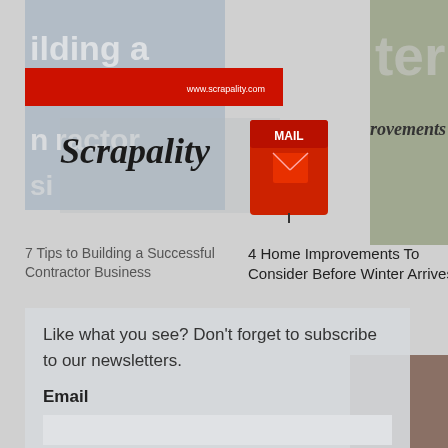[Figure (screenshot): Website screenshot showing a blog page with overlapping images: left image shows contractor business article with Scrapality logo and red mail icon, right image shows winter home improvements article with living room decor. Over these images there is a newsletter subscription panel.]
7 Tips to Building a Successful Contractor Business
4 Home Improvements To Consider Before Winter Arrives
Like what you see?  Don't forget to subscribe to our newsletters.
Email
AFFILIATE
Newsletter